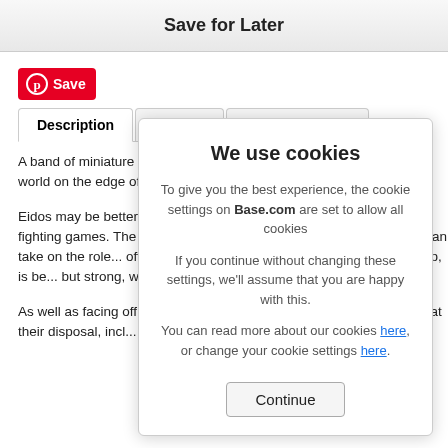Save for Later
[Figure (logo): Pinterest Save button with red background and P logo]
Description | Delivery | Product Reviews
A band of miniature but mighty ninjas must work to restore peace to a world on the edge of destruction, with a colourful visual twist.

Eidos may be better known for... Ninjas manages to add a mu... of fighting games. The Mini N... martial arts more than make... Players can take on the role... offering up their own unique... youngest of the group, is be... but strong, while Suzume is...

As well as facing off against... traditional martial arts, playe... powers at their disposal, incl... nature. Players can also swi... time.
We use cookies

To give you the best experience, the cookie settings on Base.com are set to allow all cookies

If you continue without changing these settings, we'll assume that you are happy with this.

You can read more about our cookies here, or change your cookie settings here.

Continue